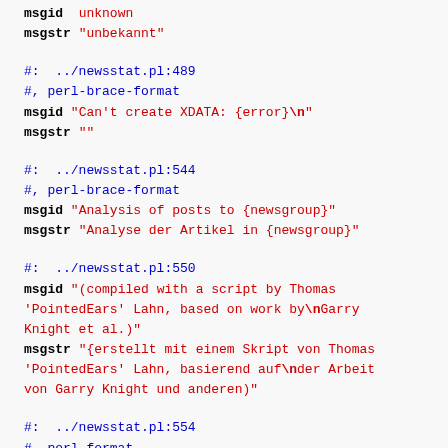msgid  unknown
msgstr "unbekannt"
#:  ../newsstat.pl:489
#, perl-brace-format
msgid "Can't create XDATA: {error}\n"
msgstr ""
#:  ../newsstat.pl:544
#, perl-brace-format
msgid "Analysis of posts to {newsgroup}"
msgstr "Analyse der Artikel in {newsgroup}"
#:  ../newsstat.pl:550
msgid "(compiled with a script by Thomas 'PointedEars' Lahn, based on work by\nGarry Knight et al.)"
msgstr "{erstellt mit einem Skript von Thomas 'PointedEars' Lahn, basierend auf\nder Arbeit von Garry Knight und anderen)"
#:  ../newsstat.pl:554
#, perl-format
msgid "Total posts considered: %s over %d days\n"
msgstr "Berücksichtigte Postings: %s über %d Tage\n"